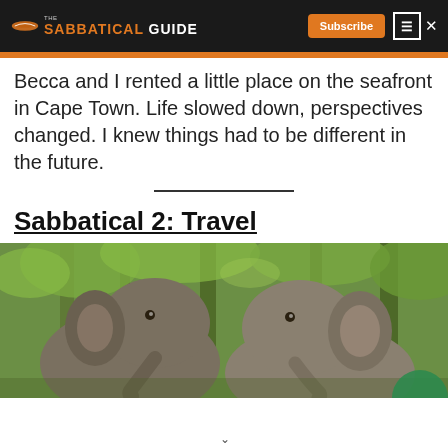THE SABBATICAL GUIDE — Subscribe [hamburger menu] ×
Becca and I rented a little place on the seafront in Cape Town. Life slowed down, perspectives changed. I knew things had to be different in the future.
Sabbatical 2: Travel
[Figure (photo): Two elephants photographed close-up from behind, in a lush green jungle/forest setting with trees visible in the background.]